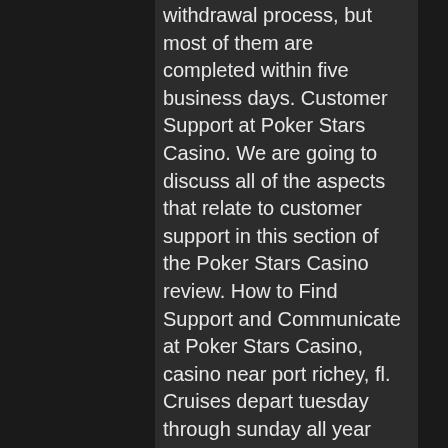withdrawal process, but most of them are completed within five business days. Customer Support at Poker Stars Casino. We are going to discuss all of the aspects that relate to customer support in this section of the Poker Stars Casino review. How to Find Support and Communicate at Poker Stars Casino, casino near port richey, fl. Cruises depart tuesday through sunday all year long. And the best part is, suncruz is only 2. 6 miles from our new port richey hotel! cruises cost $5 which. Indulge in fun and gambling with the casino games at florida's suncruz port richey casino. Ready to try your hand at a variety. High stakes on the high seas. Relax, recharge, and play the hottest slots and table games on a luxurious cruise vacation. Intymag forum - profil du membre &gt; profil page. Utilisateur: tropical breeze casino boat key west, tropical breeze casino new port richey fl, titre: new. Florida casino boat fire casualty identified as lutz